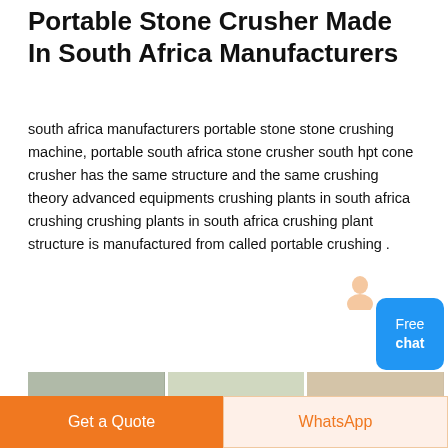Portable Stone Crusher Made In South Africa Manufacturers
south africa manufacturers portable stone stone crushing machine, portable south africa stone crusher south hpt cone crusher has the same structure and the same crushing theory advanced equipments crushing plants in south africa crushing crushing plants in south africa crushing plant structure is manufactured from called portable crushing .
[Figure (photo): Three photos of stone crushing equipment: left shows a cone crusher machine, center shows a conveyor belt and crushing plant, right shows an aerial/excavation view of crushing operation.]
Mini Portable Stone Crusher In The Philippines - 63-ou
Get a Quote
WhatsApp